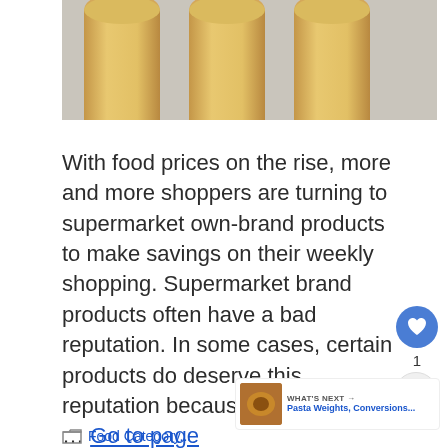[Figure (photo): Top portion of cylindrical bamboo or wooden objects (rolling pins or cylindrical wooden tools) on a light gray background, viewed from above showing rounded tops]
With food prices on the rise, more and more shoppers are turning to supermarket own-brand products to make savings on their weekly shopping. Supermarket brand products often have a bad reputation. In some cases, certain products do deserve this reputation because of the use of … Go to page
Food Category...